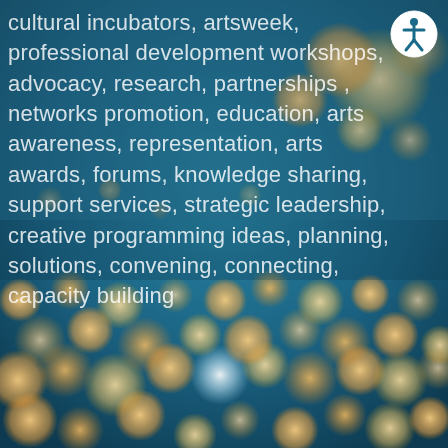[Figure (illustration): Blurred bokeh night city lights photograph with blue-teal background and warm orange/yellow circular bokeh lights arranged in a cityscape pattern. An accessibility icon (person in circle) is overlaid in the top-right corner.]
cultural incubators, artsweek, professional development workshops, advocacy, research, partnerships , networks promotion, education, arts awareness, representation, arts awards, forums, knowledge sharing, support services, strategic leadership, creative programming ideas, planning, solutions, convening, connecting, capacity building